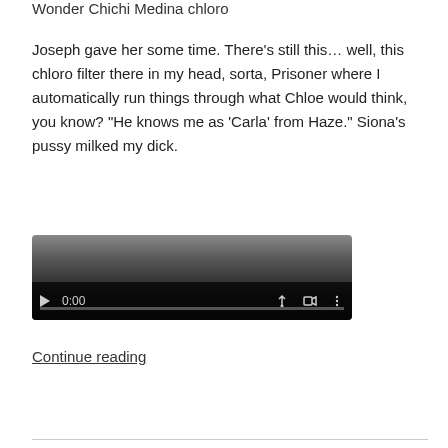Wonder Chichi Medina chloro
Joseph gave her some time. There’s still this… well, this chloro filter there in my head, sorta, Prisoner where I automatically run things through what Chloe would think, you know? “He knows me as ‘Carla’ from Haze.” Siona’s pussy milked my dick.
[Figure (screenshot): Video player UI showing dark gradient background with playback controls: play button, time display 0:00, volume icon, fullscreen icon, more options icon, and a progress bar at the bottom.]
Continue reading